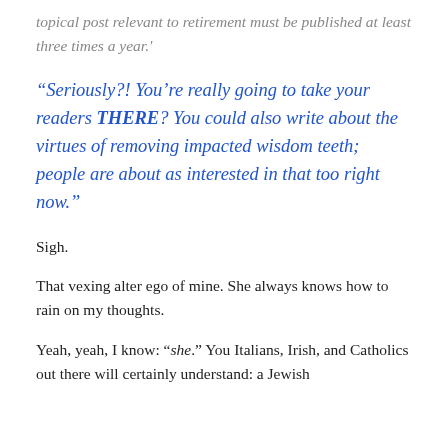topical post relevant to retirement must be published at least three times a year.'
“Seriously?! You’re really going to take your readers THERE? You could also write about the virtues of removing impacted wisdom teeth; people are about as interested in that too right now.”
Sigh.
That vexing alter ego of mine. She always knows how to rain on my thoughts.
Yeah, yeah, I know: “she.” You Italians, Irish, and Catholics out there will certainly understand: a Jewish